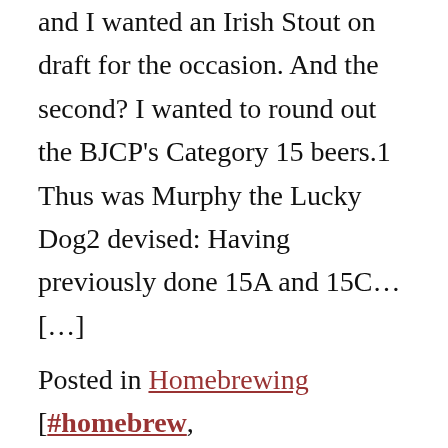and I wanted an Irish Stout on draft for the occasion. And the second? I wanted to round out the BJCP's Category 15 beers.1 Thus was Murphy the Lucky Dog2 devised: Having previously done 15A and 15C… […]
Posted in Homebrewing [#homebrew, #homebrewing, #Irish Stout, #Tilde